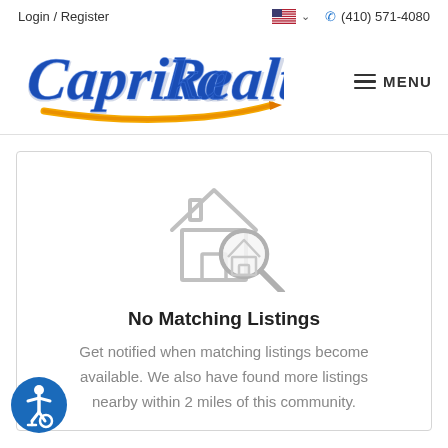Login / Register  (410) 571-4080
[Figure (logo): Caprika Realty logo with blue script text and gold/orange swoosh underline]
MENU
[Figure (illustration): House outline with magnifying glass search icon, grey color indicating no listings found]
No Matching Listings
Get notified when matching listings become available. We also have found more listings nearby within 2 miles of this community.
[Figure (other): Accessibility/wheelchair icon badge in blue circle, bottom left corner]